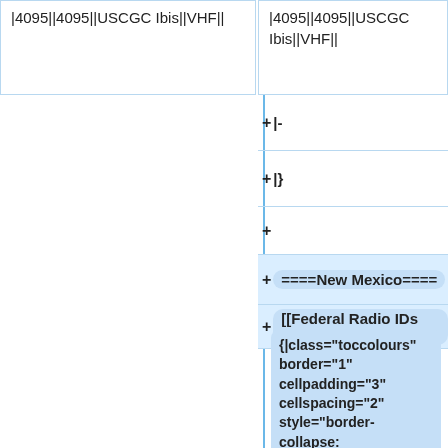|4095||4095||USCGC Ibis||VHF||
|4095||4095||USCGC Ibis||VHF||
+ |-
+ |}
+
+====New Mexico====
+[[Federal Radio IDs (NM)]]
{|class="toccolours" border="1" cellpadding="3" cellspacing="2" style="border-collapse: collapse; background-color: #F0F0F0; font-family: Tahoma, sans-serif; FONT-SIZE: 11px; padding: